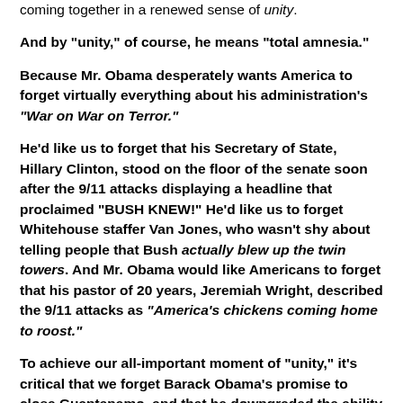coming together in a renewed sense of unity.
And by "unity," of course, he means "total amnesia."
Because Mr. Obama desperately wants America to forget virtually everything about his administration's "War on War on Terror."
He'd like us to forget that his Secretary of State, Hillary Clinton, stood on the floor of the senate soon after the 9/11 attacks displaying a headline that proclaimed "BUSH KNEW!" He'd like us to forget Whitehouse staffer Van Jones, who wasn't shy about telling people that Bush actually blew up the twin towers. And Mr. Obama would like Americans to forget that his pastor of 20 years, Jeremiah Wright, described the 9/11 attacks as "America's chickens coming home to roost."
To achieve our all-important moment of "unity," it's critical that we forget Barack Obama's promise to close Guantanamo, and that he downgraded the ability of the CIA to interrogate prisoners. We have to expunge from our memories the fact that Eric Holder considered criminal prosecution of the very people who helped obtain the information that brought down Osama bin Laden...and